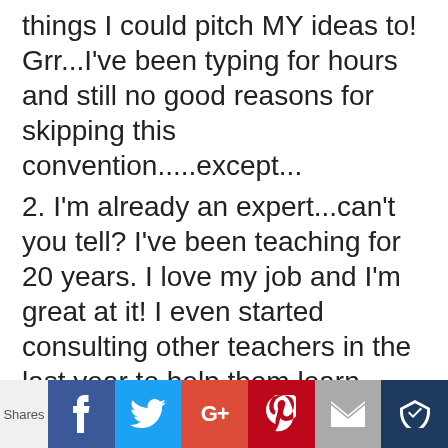things I could pitch MY ideas to! Grr...I've been typing for hours and still no good reasons for skipping this convention.....except...
2. I'm already an expert...can't you tell? I've been teaching for 20 years. I love my job and I'm great at it! I even started consulting other teachers in the last year to help them learn tech, fill up their studio and really find joy in teaching. If I went to this convention I would only be
Shares | Facebook | Twitter | Google+ | Pinterest | Email | Crown